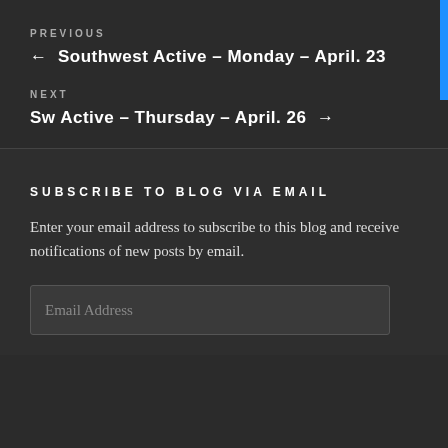PREVIOUS
← Southwest Active – Monday – April. 23
NEXT
Sw Active – Thursday – April. 26 →
SUBSCRIBE TO BLOG VIA EMAIL
Enter your email address to subscribe to this blog and receive notifications of new posts by email.
Email Address